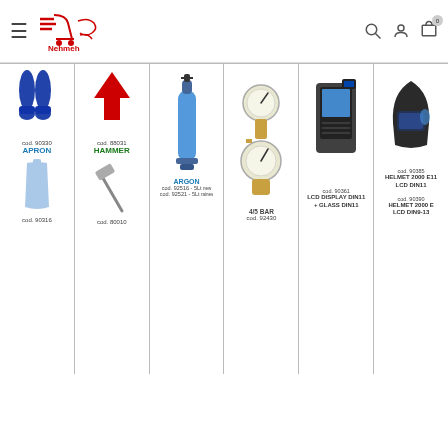Nehmeh online shop header with logo, hamburger menu, search, user, and cart icons
[Figure (screenshot): Product grid showing 6 product columns: Apron (cod.90330/90316), Hammer (cod.88031/80010), Argon (cod.92516-5Lt/92521-5Lt), 4/5 BAR regulator (cod.92430), LCD Display DIN11 (cod.90361), Helmet 2000 E11 LCD DIN11 (cod.90385) and Helmet 2000 E LCD DIN9-13 (cod.90390)]